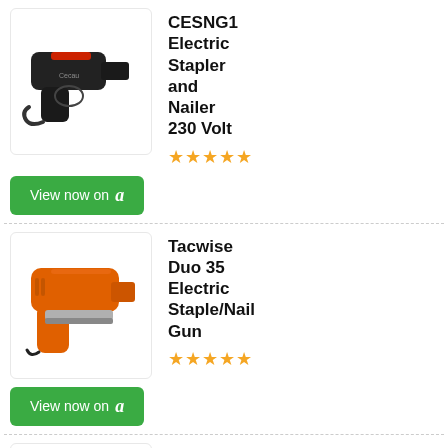[Figure (photo): Black electric stapler and nailer gun with red accents and power cord]
CESNG1 Electric Stapler and Nailer 230 Volt
★★★★★
View now on Amazon
[Figure (photo): Orange Tacwise Duo 35 electric staple/nail gun]
Tacwise Duo 35 Electric Staple/Nail Gun
★★★★★
View now on Amazon
[Figure (photo): Black + Decker product with accessories and carrying case]
Black + Decker